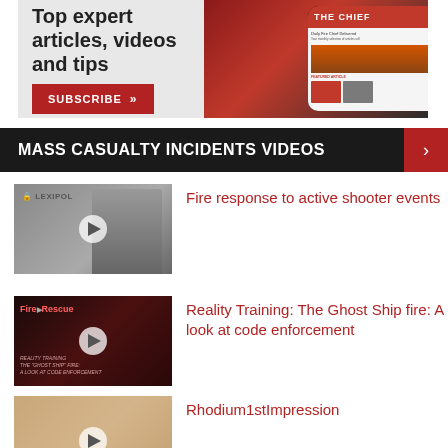[Figure (screenshot): Advertisement banner for a fire chief publication showing text 'Top expert articles, videos and tips' with a SUBSCRIBE button and a smartphone showing The Chief website]
MASS CASUALTY INCIDENTS VIDEOS
[Figure (screenshot): Video thumbnail showing Lexipol branding with a man in suit]
Fire response to active shooter events
[Figure (screenshot): Video thumbnail for Reality Training: The Ghost Ship fire: A look at code enforcement]
Reality Training: The Ghost Ship fire: A look at code enforcement
[Figure (screenshot): Video thumbnail for Rhodium1stImpression]
Rhodium1stImpression